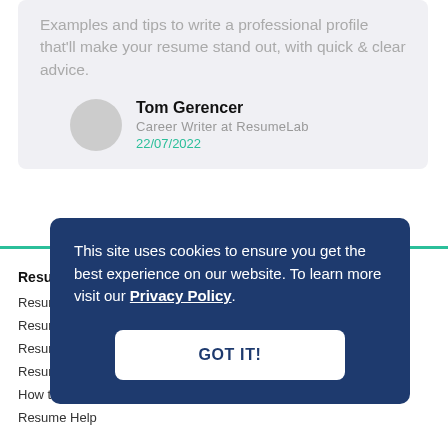Examples and tips to write a professional profile that'll make your resume stand out, with quick & clear advice.
Tom Gerencer
Career Writer at ResumeLab
22/07/2022
This site uses cookies to ensure you get the best experience on our website. To learn more visit our Privacy Policy.
GOT IT!
Resu...
Resum...
Resum...
Resum...
Resum...
How to...
Resume Help